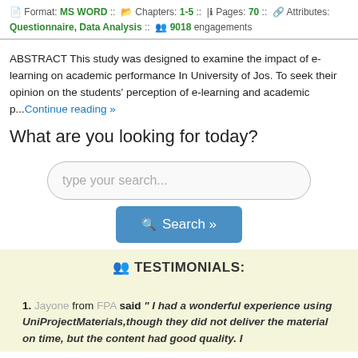Format: MS WORD :: Chapters: 1-5 :: Pages: 70 :: Attributes: Questionnaire, Data Analysis :: 9018 engagements
ABSTRACT This study was designed to examine the impact of e-learning on academic performance In University of Jos. To seek their opinion on the students' perception of e-learning and academic p...Continue reading »
What are you looking for today?
[Figure (other): Search input box with placeholder 'type your search...' and a Search button]
TESTIMONIALS:
1. Jayone from FPA said " I had a wonderful experience using UniProjectMaterials,though they did not deliver the material on time, but the content had good quality. I